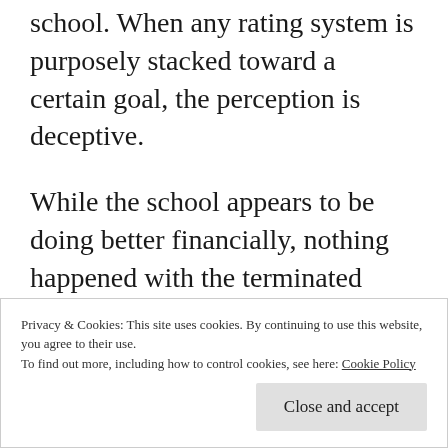school.  When any rating system is purposely stacked toward a certain goal, the perception is deceptive.
While the school appears to be doing better financially, nothing happened with the terminated employee who embezzled large amounts from the school.  The Delaware Attorney General's office has yet to file charges against this
Privacy & Cookies: This site uses cookies. By continuing to use this website, you agree to their use.
To find out more, including how to control cookies, see here: Cookie Policy
anything more than what already came